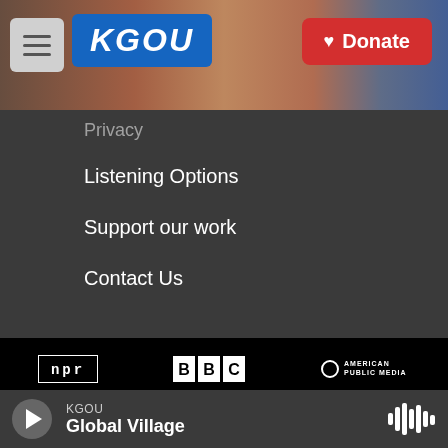[Figure (screenshot): KGOU radio station website header with hamburger menu, KGOU blue logo, city photo background, and red Donate button]
Privacy
Listening Options
Support our work
Contact Us
[Figure (logo): NPR logo - letters n p r in box]
[Figure (logo): BBC logo - three white boxes with black letters]
[Figure (logo): American Public Media logo - circle with APM text]
[Figure (logo): PRX logo with X prefix]
[Figure (logo): OU Outreach circular logo]
KGOU Global Village